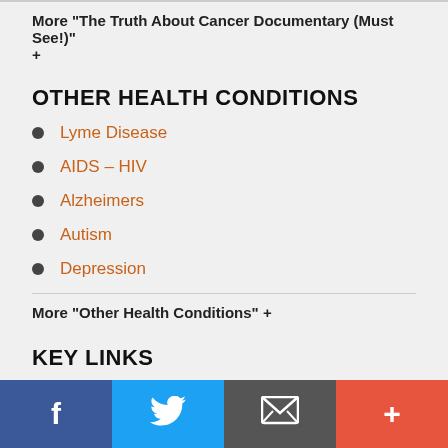More "The Truth About Cancer Documentary (Must See!)" +
OTHER HEALTH CONDITIONS
Lyme Disease
AIDS – HIV
Alzheimers
Autism
Depression
More "Other Health Conditions" +
KEY LINKS
Stage IV Treatments
Strong Stage III Treatments